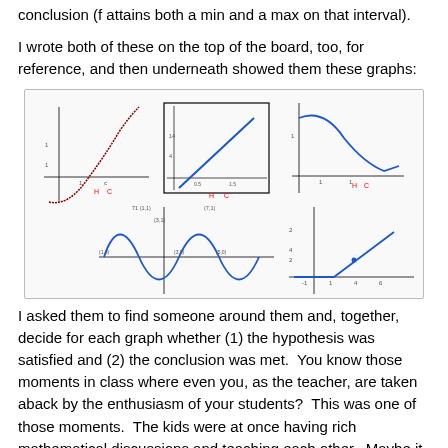conclusion (f attains both a min and a max on that interval).
I wrote both of these on the top of the board, too, for reference, and then underneath showed them these graphs:
[Figure (math-figure): Six mathematical graphs arranged in a 2x3 grid showing various functions with hypothesis (H) and conclusion (C) labels. Top row: a curve with minimum point in red/brown, a linear function inside a rectangle, and a decreasing then increasing curve. Bottom row: a sinusoidal wave, and a piecewise/step-like function. Each graph is labeled with H and C in red.]
I asked them to find someone around them and, together, decide for each graph whether (1) the hypothesis was satisfied and (2) the conclusion was met.  You know those moments in class where even you, as the teacher, are taken aback by the enthusiasm of your students?  This was one of those moments.  The kids were at once having rich mathematical discussions and teaching each other.  Maybe it was because, for once, I wasn't asking them to come up with